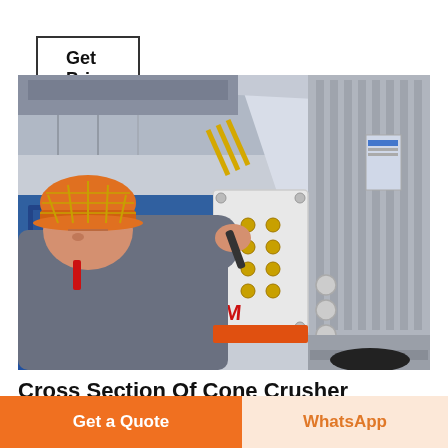Get Price
[Figure (photo): A worker wearing an orange hard hat and grey work shirt uses a wrench to work on a yellow electrical junction box mounted on large industrial machinery. In the background is a factory floor with blue equipment. To the right is a large grey industrial motor or generator.]
Cross Section Of Cone Crusher podzlotymlwemeucross section of
Get a Quote
WhatsApp